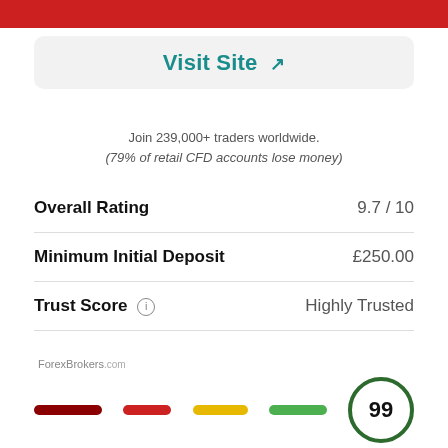[Figure (other): Red banner at top of page (partial, cropped)]
Visit Site ↗
Join 239,000+ traders worldwide. (79% of retail CFD accounts lose money)
| Overall Rating | 9.7 / 10 |
| Minimum Initial Deposit | £250.00 |
| Trust Score ⓘ | Highly Trusted |
ForexBrokers.com
[Figure (infographic): Trust score bar with four colored segments (dark red, red, yellow, green) and a score circle showing 99]